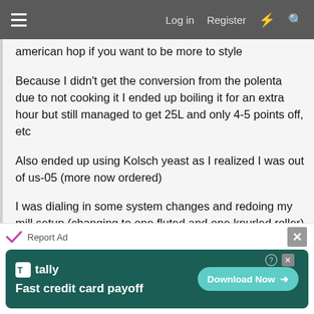☰  Log in  Register  ⚡  🔍
american hop if you want to be more to style
Because I didn't get the conversion from the polenta due to not cooking it I ended up boiling it for an extra hour but still managed to get 25L and only 4-5 points off, etc
Also ended up using Kolsch yeast as I realized I was out of us-05 (more now ordered)
I was dialing in some system changes and redoing my mill setup (changing to one fluted and one knurled roller) so still dialing in gap
[Figure (screenshot): Advertisement banner: Tally app - Fast credit card payoff with Download Now button on dark teal background]